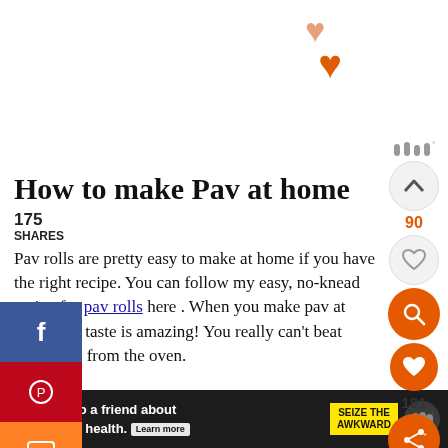[Figure (other): Two orange heart icons stacked, decorative social engagement icons]
How to make Pav at home
175
SHARES
Pav rolls are pretty easy to make at home if you have the right recipe. You can follow my easy, no-knead recipe for pav rolls here . When you make pav at home, the taste is amazing! You really can't beat fresh rolls from the oven.
[Figure (other): Social share sidebar with Facebook, Pinterest, and Mix buttons]
[Figure (other): Right side widget panel with upvote arrow (90), heart icon, orange search icon, orange heart icon (181), and share icon]
[Figure (other): Red banner advertisement reading 'Popular Indian Street food' in gold italic script]
[Figure (other): Bottom dark advertisement bar: 'Reach out to a friend about their mental health. Learn more' with 'SEIZE THE AWKWARD' badge]